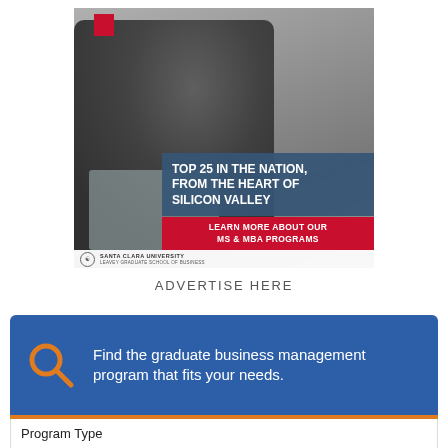[Figure (photo): Santa Clara University Leavey Graduate School of Business advertisement. Photo of a man with beard working on a laptop in a library/office setting. Blue overlay box with white bold text: 'TOP 25 IN THE NATION, FROM THE HEART OF SILICON VALLEY'. Red button: 'LEARN MORE ABOUT OUR MS & MBA PROGRAMS'. SCU logo and name at bottom of ad.]
ADVERTISE HERE
[Figure (infographic): Blue banner with orange search icon on left and white text: 'Find the graduate business management program that fits your needs.' Orange bar at bottom of banner.]
Program Type